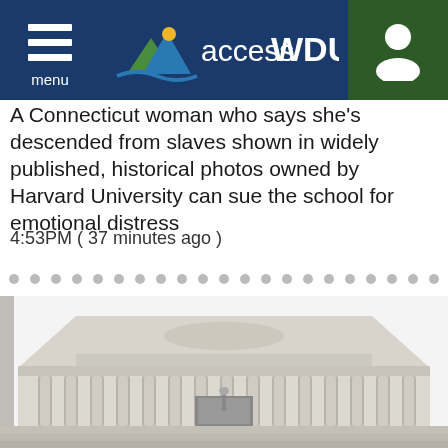accessWDUN — menu navigation header
A Connecticut woman who says she's descended from slaves shown in widely published, historical photos owned by Harvard University can sue the school for emotional distress
4:53PM ( 37 minutes ago )
[Figure (photo): Photograph of the United States Supreme Court building facade showing classical Greek-style architecture with tall columns and triangular pediment]